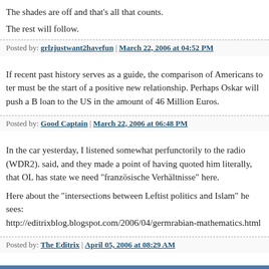The shades are off and that's all that counts.
The rest will follow.
Posted by: grlzjustwant2havefun | March 22, 2006 at 04:52 PM
If recent past history serves as a guide, the comparison of Americans to ter must be the start of a positive new relationship. Perhaps Oskar will push a B loan to the US in the amount of 46 Million Euros.
Posted by: Good Captain | March 22, 2006 at 06:48 PM
In the car yesterday, I listened somewhat perfunctorily to the radio (WDR2). said, and they made a point of having quoted him literally, that OL has state we need "französische Verhältnisse" here.

Here about the "intersections between Leftist politics and Islam" he sees: http://editrixblog.blogspot.com/2006/04/germrabian-mathematics.html
Posted by: The Editrix | April 05, 2006 at 08:29 AM
The comments to this entry are closed.